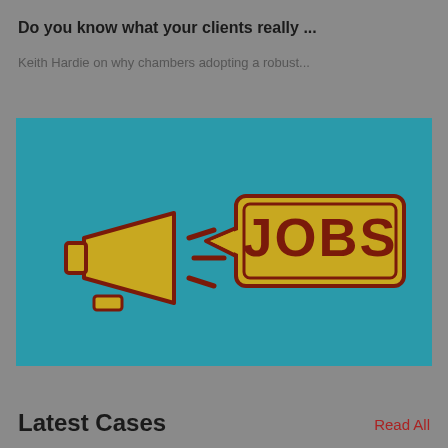Do you know what your clients really ...
Keith Hardie on why chambers adopting a robust...
[Figure (illustration): Illustration on teal/cyan background showing a yellow megaphone on the left emitting sound lines, pointing toward a yellow speech bubble tag shape on the right containing the bold dark-red text 'JOBS'. The megaphone and speech bubble have dark red outlines.]
Latest Cases
Read All